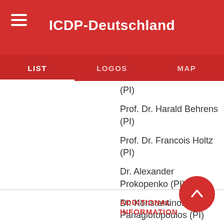ICDP-Deutschland
LIST   LOGOS   MAP
(PI)
Prof. Dr. Harald Behrens (PI)
Prof. Dr. Francois Holtz (PI)
Dr. Alexander Prokopenko (PI)
Dr. Konstantinos Panagiotopoulos (PI)
ADDITIONAL INFORMATION